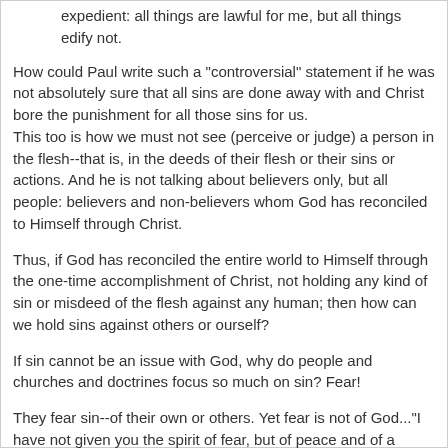expedient: all things are lawful for me, but all things edify not.
How could Paul write such a "controversial" statement if he was not absolutely sure that all sins are done away with and Christ bore the punishment for all those sins for us. This too is how we must not see (perceive or judge) a person in the flesh--that is, in the deeds of their flesh or their sins or actions. And he is not talking about believers only, but all people: believers and non-believers whom God has reconciled to Himself through Christ.
Thus, if God has reconciled the entire world to Himself through the one-time accomplishment of Christ, not holding any kind of sin or misdeed of the flesh against any human; then how can we hold sins against others or ourself?
If sin cannot be an issue with God, why do people and churches and doctrines focus so much on sin? Fear!
They fear sin--of their own or others. Yet fear is not of God..."I have not given you the spirit of fear, but of peace and of a sound mind" (2 Timothy 1:7). To have that peace is...